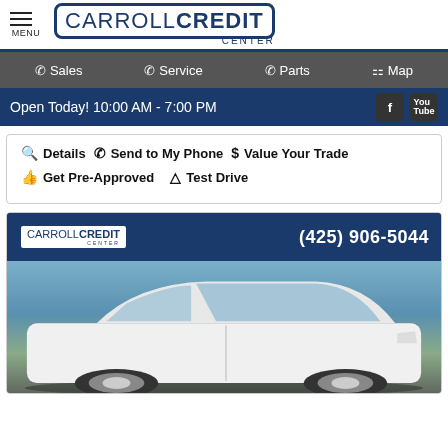[Figure (logo): Carroll Credit Center logo with hamburger menu icon on the left]
Sales   Service   Parts   Map
Open Today! 10:00 AM - 7:00 PM
Details   Send to My Phone   Value Your Trade
Get Pre-Approved   Test Drive
[Figure (photo): White sedan car with Carroll Credit Center logo and phone number (425) 906-5044 overlaid at top]